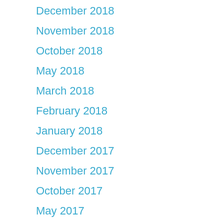December 2018
November 2018
October 2018
May 2018
March 2018
February 2018
January 2018
December 2017
November 2017
October 2017
May 2017
March 2017
February 2017
January 2017